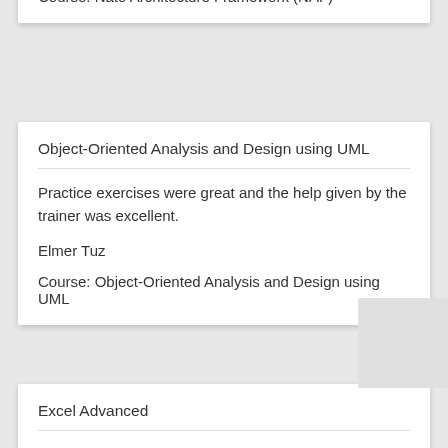Course: Nato Architecture Framework (NAF)
Object-Oriented Analysis and Design using UML
Practice exercises were great and the help given by the trainer was excellent.
Elmer Tuz
Course: Object-Oriented Analysis and Design using UML
Excel Advanced